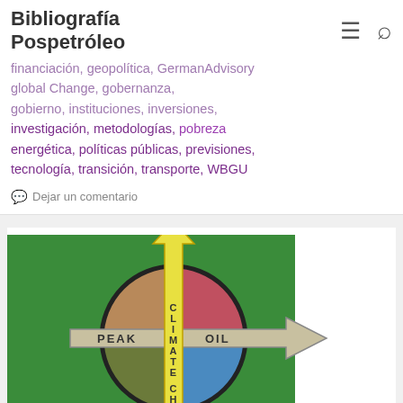Bibliografía Pospetróleo
financiación, geopolítica, GermanAdvisory, global Change, gobernanza, gobierno, instituciones, inversiones, investigación, metodologías, pobreza energética, políticas públicas, previsiones, tecnología, transición, transporte, WBGU
Dejar un comentario
[Figure (illustration): Circular diagram with four colored quadrants and two crossing arrows. Vertical yellow arrow pointing up labeled 'CLIMATE CHANGE', horizontal grey arrow pointing right labeled 'PEAK OIL'. Background green rectangle. Four quadrants: top-left brown, top-right red/pink, bottom-left dark green, bottom-right blue.]